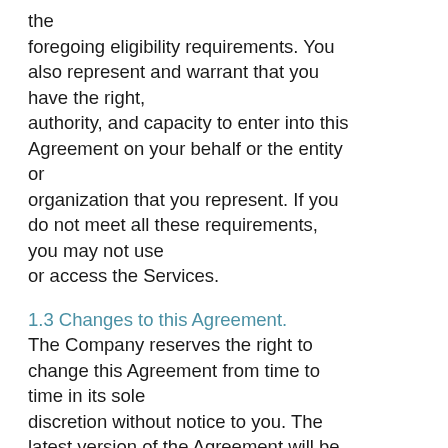the foregoing eligibility requirements. You also represent and warrant that you have the right, authority, and capacity to enter into this Agreement on your behalf or the entity or organization that you represent. If you do not meet all these requirements, you may not use or access the Services.
1.3 Changes to this Agreement.
The Company reserves the right to change this Agreement from time to time in its sole discretion without notice to you. The latest version of the Agreement will be posted on the Website and should be reviewed prior to accessing or using the Services. All